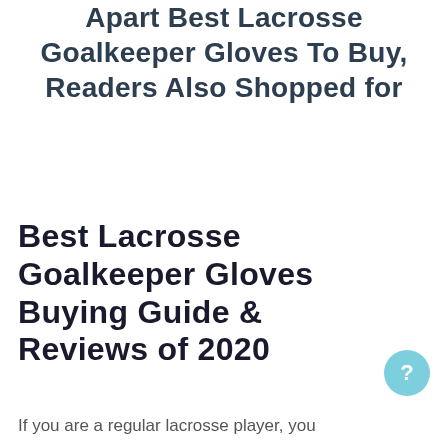Apart Best Lacrosse Goalkeeper Gloves To Buy, Readers Also Shopped for
Best Lacrosse Goalkeeper Gloves Buying Guide & Reviews of 2020
If you are a regular lacrosse player, you